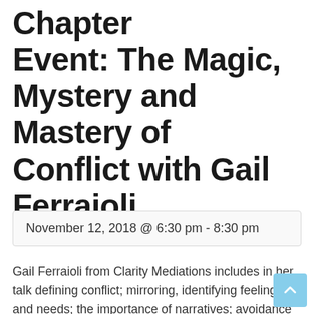Chapter Event: The Magic, Mystery and Mastery of Conflict with Gail Ferraioli
November 12, 2018 @ 6:30 pm - 8:30 pm
Gail Ferraioli from Clarity Mediations includes in her talk defining conflict; mirroring, identifying feelings and needs; the importance of narratives; avoidance behaviors – what we do and why we do it; triggers of conflict; reactivity and responsiveness – prompts for the brain and